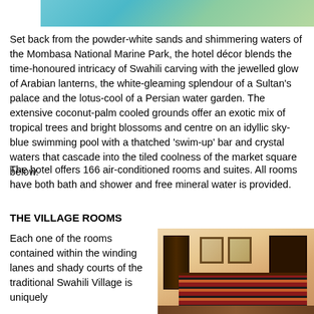[Figure (photo): Top portion of an aerial or landscape photo of Mombasa National Marine Park area, showing turquoise water and sandy/green landscape]
Set back from the powder-white sands and shimmering waters of the Mombasa National Marine Park, the hotel décor blends the time-honoured intricacy of Swahili carving with the jewelled glow of Arabian lanterns, the white-gleaming splendour of a Sultan's palace and the lotus-cool of a Persian water garden. The extensive coconut-palm cooled grounds offer an exotic mix of tropical trees and bright blossoms and centre on an idyllic sky-blue swimming pool with a thatched 'swim-up' bar and crystal waters that cascade into the tiled coolness of the market square below.
The hotel offers 166 air-conditioned rooms and suites. All rooms have both bath and shower and free mineral water is provided.
THE VILLAGE ROOMS
Each one of the rooms contained within the winding lanes and shady courts of the traditional Swahili Village is uniquely
[Figure (photo): Interior photo of a hotel room showing a bed with red and dark striped bedding, dark wooden headboard and furniture, white textured walls, wall sconce lamps, and framed artwork]